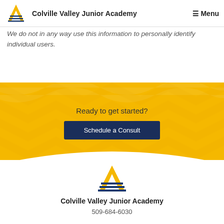Colville Valley Junior Academy  ☰ Menu
We do not in any way use this information to personally identify individual users.
[Figure (infographic): Yellow chevron/wave patterned CTA band with 'Ready to get started?' text and 'Schedule a Consult' dark blue button]
Ready to get started?
Schedule a Consult
[Figure (logo): Colville Valley Junior Academy logo — stylized letter A with gold horizontal lines]
Colville Valley Junior Academy
509-684-6030